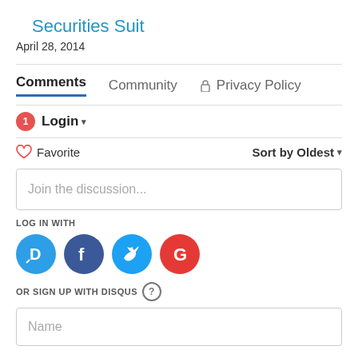Securities Suit
April 28, 2014
Comments  Community  Privacy Policy
1  Login  Favorite  Sort by Oldest
Join the discussion...
LOG IN WITH
[Figure (other): Social login icons: Disqus (D), Facebook (f), Twitter bird, Google (G)]
OR SIGN UP WITH DISQUS ?
Name